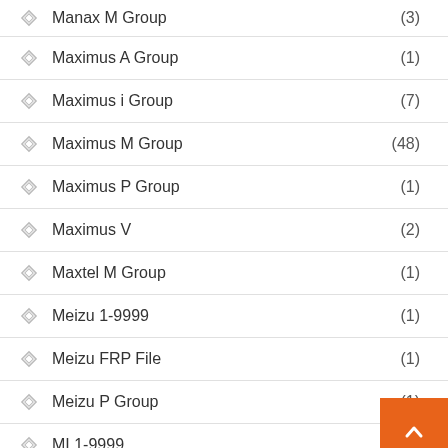Manax M Group (3)
Maximus A Group (1)
Maximus i Group (7)
Maximus M Group (48)
Maximus P Group (1)
Maximus V (2)
Maxtel M Group (1)
Meizu 1-9999 (1)
Meizu FRP File (1)
Meizu P Group (1)
MI 1-9999
MI Dump File (1)